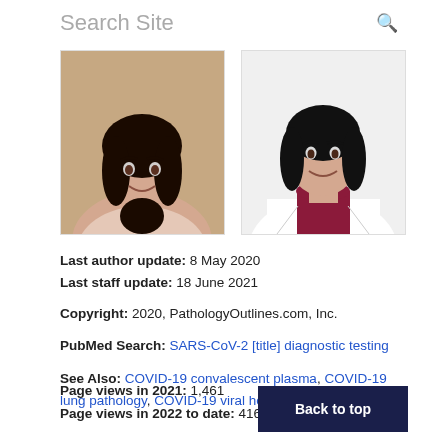Search Site
[Figure (photo): Two author headshot photos side by side. Left: young woman with dark hair. Right: woman in white lab coat with dark turtleneck.]
Last author update: 8 May 2020
Last staff update: 18 June 2021
Copyright: 2020, PathologyOutlines.com, Inc.
PubMed Search: SARS-CoV-2 [title] diagnostic testing
See Also: COVID-19 convalescent plasma, COVID-19 lung pathology, COVID-19 viral hepatitis
Page views in 2021: 1,461
Page views in 2022 to date: 416